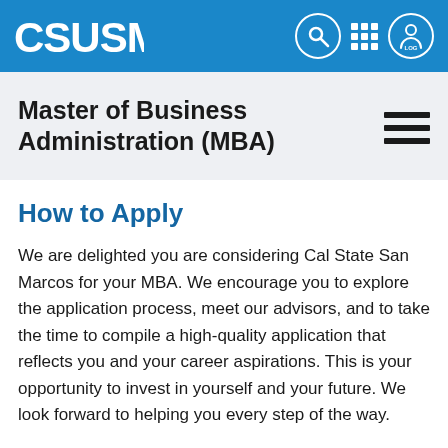CSUSM
Master of Business Administration (MBA)
How to Apply
We are delighted you are considering Cal State San Marcos for your MBA. We encourage you to explore the application process, meet our advisors, and to take the time to compile a high-quality application that reflects you and your career aspirations. This is your opportunity to invest in yourself and your future. We look forward to helping you every step of the way.